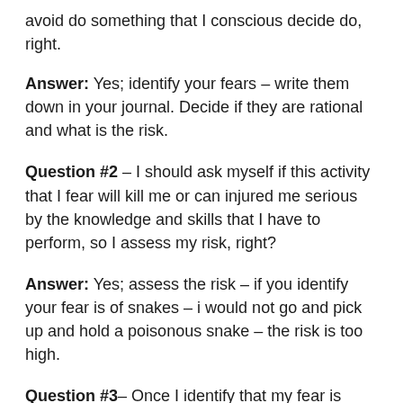avoid do something that I conscious decide do, right.
Answer: Yes; identify your fears – write them down in your journal. Decide if they are rational and what is the risk.
Question #2 – I should ask myself if this activity that I fear will kill me or can injured me serious by the knowledge and skills that I have to perform, so I assess my risk, right?
Answer: Yes; assess the risk – if you identify your fear is of snakes – i would not go and pick up and hold a poisonous snake – the risk is too high.
Question #3– Once I identify that my fear is "irrational" I should use visualization and mental